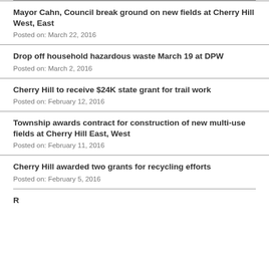Mayor Cahn, Council break ground on new fields at Cherry Hill West, East
Posted on: March 22, 2016
Drop off household hazardous waste March 19 at DPW
Posted on: March 2, 2016
Cherry Hill to receive $24K state grant for trail work
Posted on: February 12, 2016
Township awards contract for construction of new multi-use fields at Cherry Hill East, West
Posted on: February 11, 2016
Cherry Hill awarded two grants for recycling efforts
Posted on: February 5, 2016